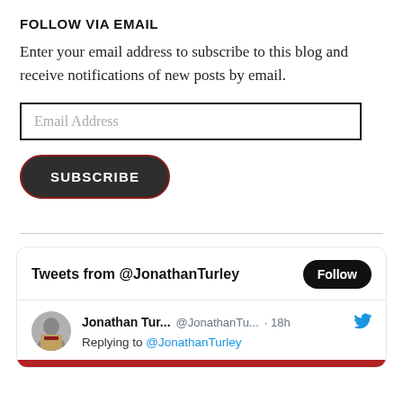FOLLOW VIA EMAIL
Enter your email address to subscribe to this blog and receive notifications of new posts by email.
[Figure (screenshot): Email address input field with placeholder text 'Email Address']
[Figure (screenshot): Dark rounded Subscribe button with red border]
[Figure (screenshot): Twitter widget showing 'Tweets from @JonathanTurley' with Follow button and a tweet from Jonathan Tur... @JonathanTu... 18h replying to @JonathanTurley]